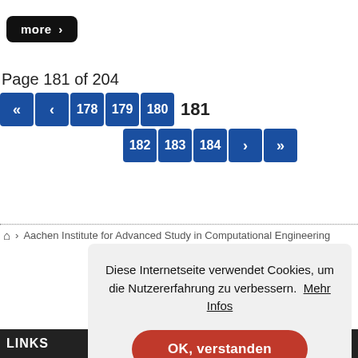[Figure (screenshot): Black 'more >' button in top-left corner]
Page 181 of 204
[Figure (screenshot): Pagination control showing pages 178, 179, 180, 181 (current), 182, 183, 184 with nav arrows]
Aachen Institute for Advanced Study in Computational Engineering
Diese Internetseite verwendet Cookies, um die Nutzererfahrung zu verbessern. Mehr Infos
OK, verstanden
LINKS   SERVICE